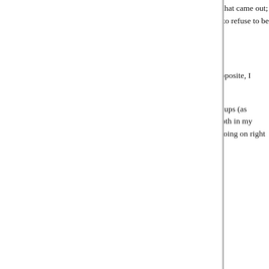headquarters for administering polio vaccine to p... remember sugar cubes, which I think was the Sab... was younger than when that came out; my memo... The adults -- most of whom knew someone whos... by polio -- were about as far from being anti-vaxx... crazy idea, to refuse to be protected from polio!

Right? . . . Right?

Point being: I think the biggest problem is going to... We can do logistics (I wouldn't be saying this if th... other way, quite the opposite, I think Clickbait wou... much as he could). Not that it will be easy, but jus... problem than people's mindsets.

As for keeping track of e.g. who's been vaccinate... dose -- I could go on a monthlong diatribe about d... information flow screw-ups (as during my mother'... the hospital and the nursing home weren't great a... informed). But overall, I feel like my immunization... both in my doctor's portal and in my pharmacy's r... no doubt, but overall, I'm hopeful that we can pull... enough to end the slaughter that's going on right ...
Posted by: JanieM | November 29, 2020 at 10:17 PM